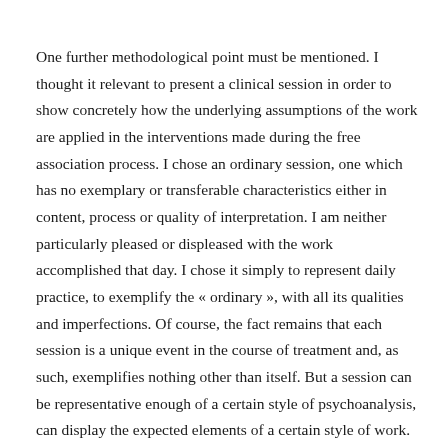One further methodological point must be mentioned. I thought it relevant to present a clinical session in order to show concretely how the underlying assumptions of the work are applied in the interventions made during the free association process. I chose an ordinary session, one which has no exemplary or transferable characteristics either in content, process or quality of interpretation. I am neither particularly pleased or displeased with the work accomplished that day. I chose it simply to represent daily practice, to exemplify the « ordinary », with all its qualities and imperfections. Of course, the fact remains that each session is a unique event in the course of treatment and, as such, exemplifies nothing other than itself. But a session can be representative enough of a certain style of psychoanalysis, can display the expected elements of a certain style of work. Therefore, what remained to be done was to find a way of choosing a session based on nothing other than the